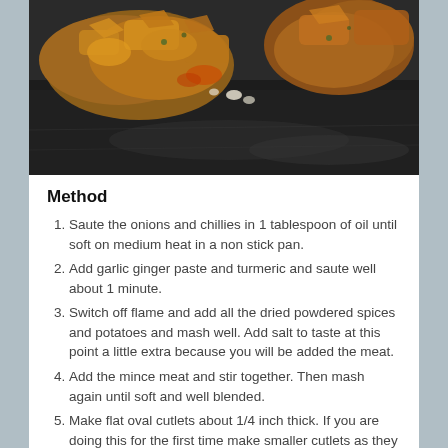[Figure (photo): Close-up photo of fried/breaded food items (cutlets) on a dark surface, brownish-golden color with crispy texture]
Method
Saute the onions and chillies in 1 tablespoon of oil until soft on medium heat in a non stick pan.
Add garlic ginger paste and turmeric and saute well about 1 minute.
Switch off flame and add all the dried powdered spices and potatoes and mash well. Add salt to taste at this point a little extra because you will be added the meat.
Add the mince meat and stir together. Then mash again until soft and well blended.
Make flat oval cutlets about 1/4 inch thick. If you are doing this for the first time make smaller cutlets as they